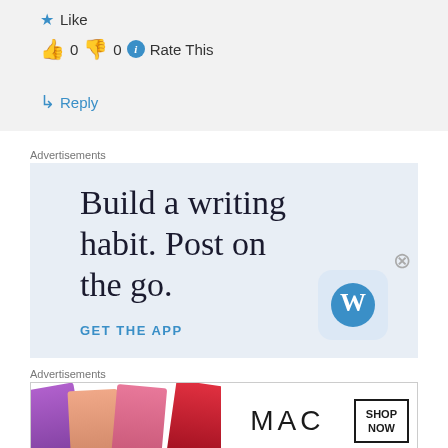★ Like
👍 0 👎 0 ℹ Rate This
↳ Reply
Advertisements
[Figure (advertisement): WordPress app advertisement with text 'Build a writing habit. Post on the go.' and 'GET THE APP' with WordPress logo]
Advertisements
[Figure (advertisement): MAC cosmetics advertisement showing lipsticks with MAC logo and SHOP NOW button]